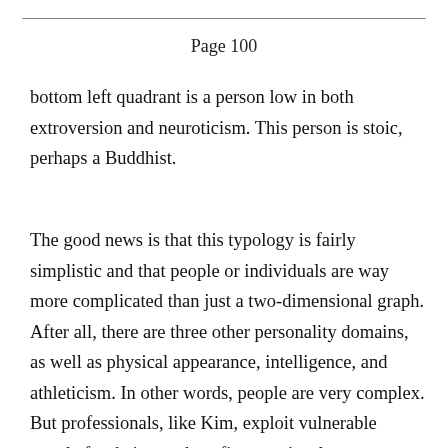Page 100
bottom left quadrant is a person low in both extroversion and neuroticism. This person is stoic, perhaps a Buddhist.
The good news is that this typology is fairly simplistic and that people or individuals are way more complicated than just a two-dimensional graph. After all, there are three other personality domains, as well as physical appearance, intelligence, and athleticism. In other words, people are very complex. But professionals, like Kim, exploit vulnerable people for their own benefit, consciously or unconsciously. And the effects of that on the overall health and well-being